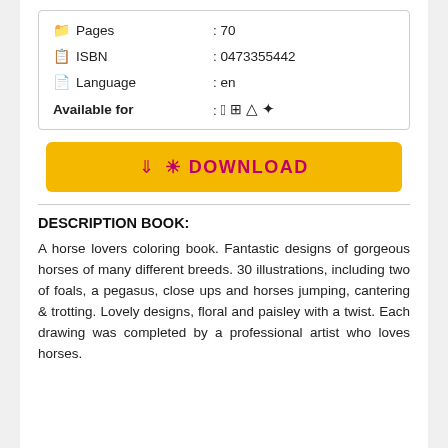| Property | Value |
| --- | --- |
| Pages | : 70 |
| ISBN | : 0473355442 |
| Language | : en |
| Available for | : (Apple, Windows, Linux, Android) |
[Figure (other): Yellow DOWNLOAD button with download icon and pink/magenta text]
DESCRIPTION BOOK:
A horse lovers coloring book. Fantastic designs of gorgeous horses of many different breeds. 30 illustrations, including two of foals, a pegasus, close ups and horses jumping, cantering & trotting. Lovely designs, floral and paisley with a twist. Each drawing was completed by a professional artist who loves horses.